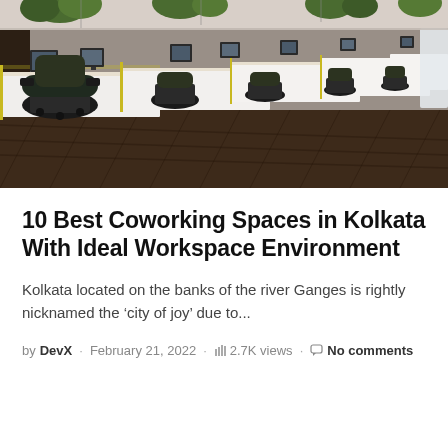[Figure (photo): Interior of a modern coworking office space showing a long row of white desks with yellow accents, black ergonomic chairs, desktop computers, and green plants. Dark wood herringbone floor visible. Well-lit office environment.]
10 Best Coworking Spaces in Kolkata With Ideal Workspace Environment
Kolkata located on the banks of the river Ganges is rightly nicknamed the ‘city of joy’ due to...
by DevX · February 21, 2022 · 2.7K views · No comments